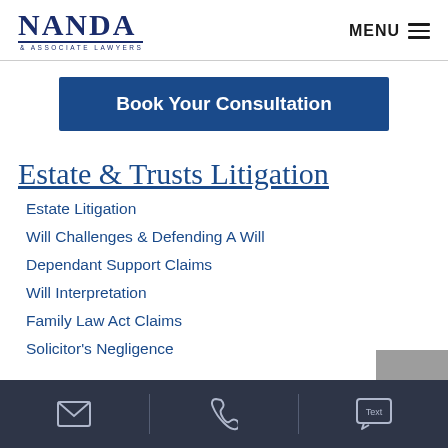NANDA & ASSOCIATE LAWYERS | MENU
Book Your Consultation
Estate & Trusts Litigation
Estate Litigation
Will Challenges & Defending A Will
Dependant Support Claims
Will Interpretation
Family Law Act Claims
Solicitor's Negligence
Email | Phone | Text